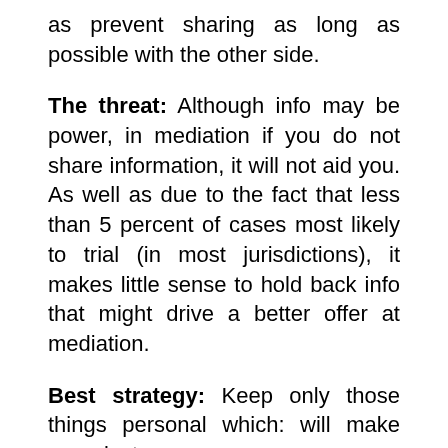as prevent sharing as long as possible with the other side.
The threat: Although info may be power, in mediation if you do not share information, it will not aid you. As well as due to the fact that less than 5 percent of cases most likely to trial (in most jurisdictions), it makes little sense to hold back info that might drive a better offer at mediation.
Best strategy: Keep only those things personal which: will make your instance appear even worse than the opposite presumes it is; or will make your situation seem better than the opposite